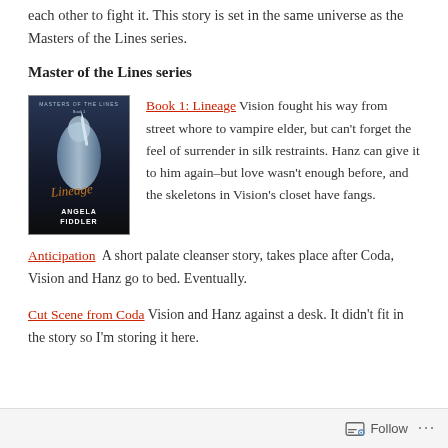each other to fight it. This story is set in the same universe as the Masters of the Lines series.
Master of the Lines series
[Figure (illustration): Book cover for 'Lineage' by Angela Fiddler — dark sci-fi/paranormal cover showing a muscular shirtless man in silver/blue tones, with the title 'Lineage' in orange script and author name 'Angela Fiddler' in white text at the bottom.]
Book 1: Lineage Vision fought his way from street whore to vampire elder, but can't forget the feel of surrender in silk restraints. Hanz can give it to him again–but love wasn't enough before, and the skeletons in Vision's closet have fangs.
Anticipation  A short palate cleanser story, takes place after Coda, Vision and Hanz go to bed. Eventually.
Cut Scene from Coda Vision and Hanz against a desk. It didn't fit in the story so I'm storing it here.
Follow ...